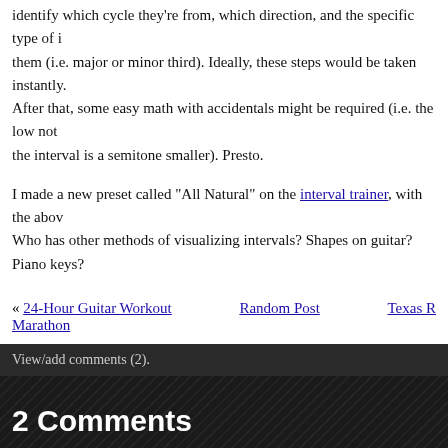identify which cycle they're from, which direction, and the specific type of interval between them (i.e. major or minor third). Ideally, these steps would be taken instantly. After that, some easy math with accidentals might be required (i.e. the low note is flat so the interval is a semitone smaller). Presto.
I made a new preset called "All Natural" on the interval trainer, with the above settings. Who has other methods of visualizing intervals? Shapes on guitar? Piano keys?
« 24-Hour Guitar Workout Marathon    Random Post    Texas R
View/add comments (2).
2 Comments
Frank (14 Apr 2008 at 11:26am)
Hey there,
I'm wondering... Have you seem measurable success since starting your prog newbie guitar player (kind of...) - I found your site th [http://fillmorefive.blogspot.com/], and I'm just wondering if the 8+ hours of pr has been (as I imagine it) extremely beneficial...
Also, aside from the practice, do you do gigs? If so, which area?
Let me know... And very good luck on your mission.